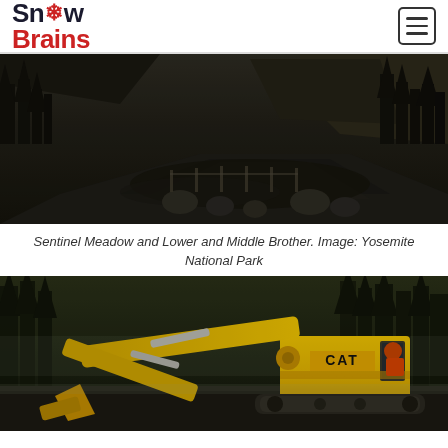Snow Brains
[Figure (photo): Dark moody landscape photo of Sentinel Meadow with flooded road, boulders, wooden fence posts, pine trees, and mountain cliffs in background at Yosemite National Park. Sepia/dark tone.]
Sentinel Meadow and Lower and Middle Brother. Image: Yosemite National Park
[Figure (photo): A yellow CAT excavator working on a road in a forested area at Yosemite, misty/rainy conditions, operator visible in cab wearing orange safety gear, pine trees in background.]